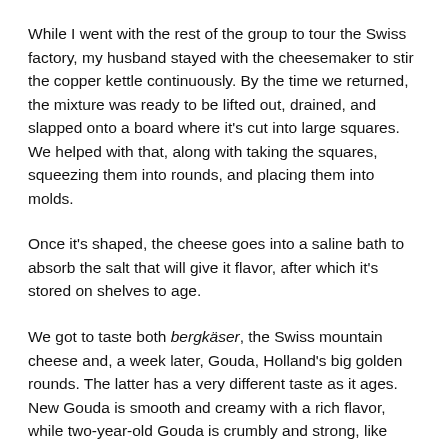While I went with the rest of the group to tour the Swiss factory, my husband stayed with the cheesemaker to stir the copper kettle continuously. By the time we returned, the mixture was ready to be lifted out, drained, and slapped onto a board where it’s cut into large squares. We helped with that, along with taking the squares, squeezing them into rounds, and placing them into molds.
Once it’s shaped, the cheese goes into a saline bath to absorb the salt that will give it flavor, after which it’s stored on shelves to age.
We got to taste both bergkäser, the Swiss mountain cheese and, a week later, Gouda, Holland’s big golden rounds. The latter has a very different taste as it ages. New Gouda is smooth and creamy with a rich flavor, while two-year-old Gouda is crumbly and strong, like Parmesan. The workers turn the cheese rounds over every week as it ages.
Two Hike, Storks, Tourism